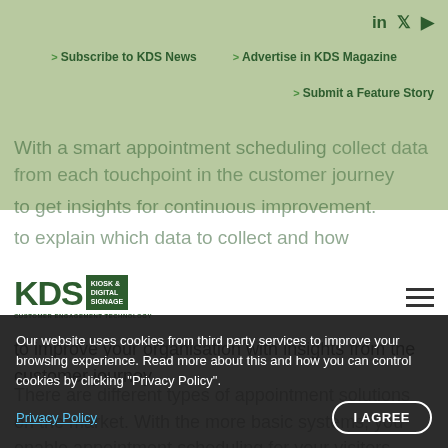Subscribe to KDS News | Advertise in KDS Magazine | Submit a Feature Story
[Figure (logo): KDS Kiosk & Digital Signage Customer Engagement Technology logo]
With a smart appointment scheduling solution, you collect data from each touchpoint in the customer journey, to get insights for continuous improvement. In this article, we aims to explain which data to collect and how to improve your organisation with insights from the customer journey.
There are different types of appointment solutions on the market. With the more basic systems, you enable appointment scheduling for your visitors, while the more complex system automates the entire appointment scheduling process. In this article, we are looking at the smart appointment scheduling solutions that collect data, which fall into the latter category of appointment solutions.
Our website uses cookies from third party services to improve your browsing experience. Read more about this and how you can control cookies by clicking "Privacy Policy".
Privacy Policy
I AGREE